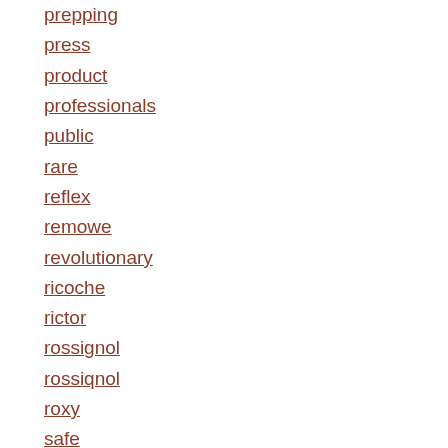prepping
press
product
professionals
public
rare
reflex
remowe
revolutionary
ricoche
rictor
rossignol
rossiqnol
roxy
safe
salomon
scandinavian
scott
sellarondaskimarathon
setting
short